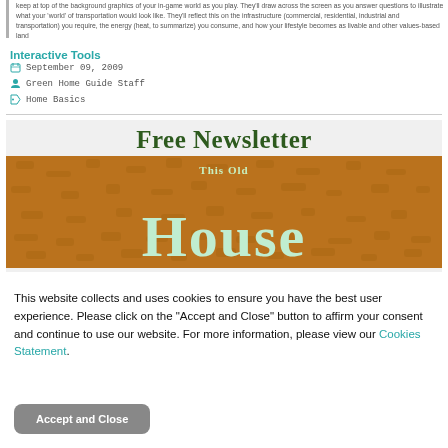keep at top of the background graphics of your in-game world as you play. They'll draw across the screen as you answer questions to illustrate what your 'world' of transportation would look like. They'll reflect this on the infrastructure (commercial, residential, industrial and transportation) you require, the energy (heat, to summarize) you consume, and how your lifestyle becomes as livable and other values-based land
Interactive Tools
September 09, 2009
Green Home Guide Staff
Home Basics
[Figure (illustration): Free Newsletter banner with 'This Old House' text displayed on a cork/wood textured background in light mint/green color]
This website collects and uses cookies to ensure you have the best user experience. Please click on the "Accept and Close" button to affirm your consent and continue to use our website. For more information, please view our Cookies Statement.
Accept and Close